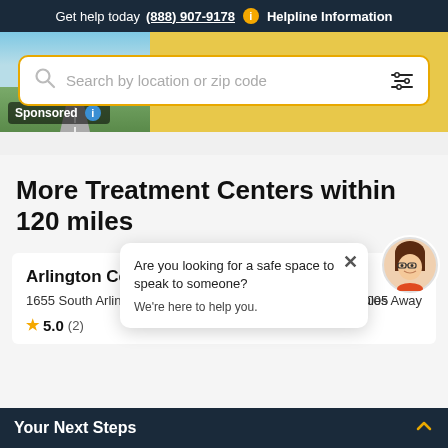Get help today (888) 907-9178  i  Helpline Information
Symetria — Joliet Outpatient
[Figure (screenshot): Search bar with yellow/gold border showing 'Search by location or zip code' placeholder text and a filter icon on the right]
Sponsored  i
More Treatment Centers within 120 miles
[Figure (screenshot): Chat popup overlay: 'Are you looking for a safe space to speak to someone? We're here to help you.' with a close X button and avatar of a cartoon woman with glasses]
Arlington Center for Recovery LLC
1655 South Arlington Heights Road Arlington Heights, IL 60005
- 12 Miles Away
★ 5.0 (2)
Your Next Steps